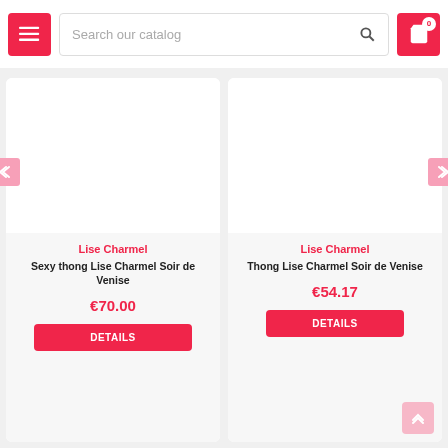Search our catalog
Lise Charmel
Sexy thong Lise Charmel Soir de Venise
€70.00
DETAILS
Lise Charmel
Thong Lise Charmel Soir de Venise
€54.17
DETAILS